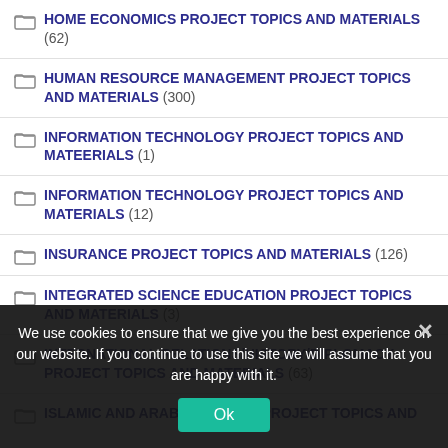HOME ECONOMICS PROJECT TOPICS AND MATERIALS (62)
HUMAN RESOURCE MANAGEMENT PROJECT TOPICS AND MATERIALS (300)
INFORMATION TECHNOLOGY PROJECT TOPICS AND MATEERIALS (1)
INFORMATION TECHNOLOGY PROJECT TOPICS AND MATERIALS (12)
INSURANCE PROJECT TOPICS AND MATERIALS (126)
INTEGRATED SCIENCE EDUCATION PROJECT TOPICS AND MATERIALS (3)
INTERNATIONAL RELATIONS/HISTORY/DIPLOMACY PROJECT TOPICS AND MATERIALS (63)
ISLAMIC AND ARABIC STUDIES PROJECT TOPICS AND …
We use cookies to ensure that we give you the best experience on our website. If you continue to use this site we will assume that you are happy with it.